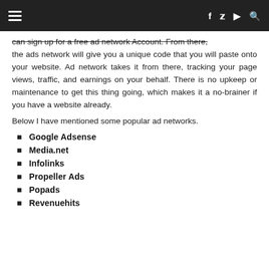Navigation bar with menu icon and social icons (f, twitter, youtube, search)
can sign up for a free ad network Account. From there, the ads network will give you a unique code that you will paste onto your website. Ad network takes it from there, tracking your page views, traffic, and earnings on your behalf. There is no upkeep or maintenance to get this thing going, which makes it a no-brainer if you have a website already.
Below I have mentioned some popular ad networks.
Google Adsense
Media.net
Infolinks
Propeller Ads
Popads
Revenuehits